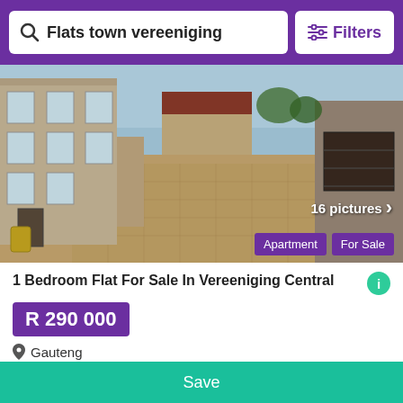Flats town vereeniging | Filters
[Figure (photo): Exterior photo of a flat/apartment complex showing a paved driveway, beige building with windows, and garage doors. Shows '16 pictures' badge and tags 'Apartment' and 'For Sale'.]
1 Bedroom Flat For Sale In Vereeniging Central
R 290 000
Gauteng
1 bedroom   1 bathroom
A week ago
View details
Save